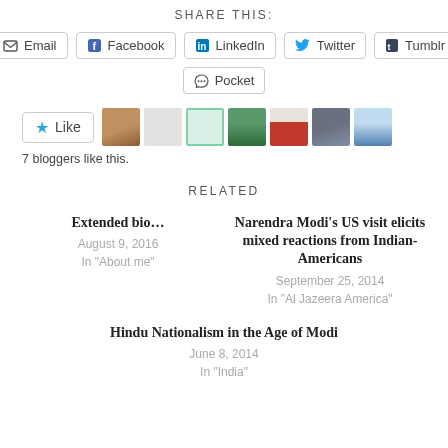SHARE THIS:
Email
Facebook
LinkedIn
Twitter
Tumblr
Pocket
[Figure (other): Like button with star icon, followed by 7 blogger avatar thumbnails]
7 bloggers like this.
RELATED
Extended bio…
August 9, 2016
In "About me"
Narendra Modi's US visit elicits mixed reactions from Indian-Americans
September 25, 2014
In "Al Jazeera America"
Hindu Nationalism in the Age of Modi
June 8, 2014
In "India"